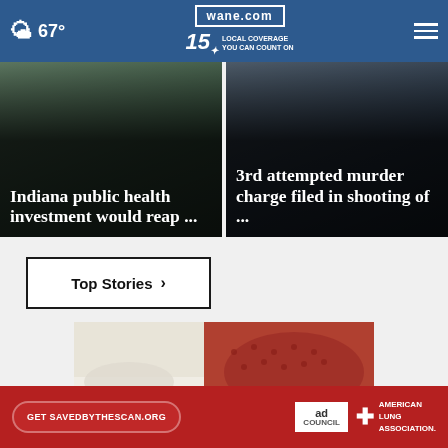67° | wane.com | 15 LOCAL COVERAGE YOU CAN COUNT ON
[Figure (screenshot): News card: Indiana public health investment would reap ...]
[Figure (screenshot): News card: 3rd attempted murder charge filed in shooting of ...]
Top Stories ›
[Figure (photo): Close-up photo of person wearing white pants and red mesh sneakers]
[Figure (other): Advertisement banner: Get SAVEDBYTHESCAN.ORG | Ad Council | American Lung Association]